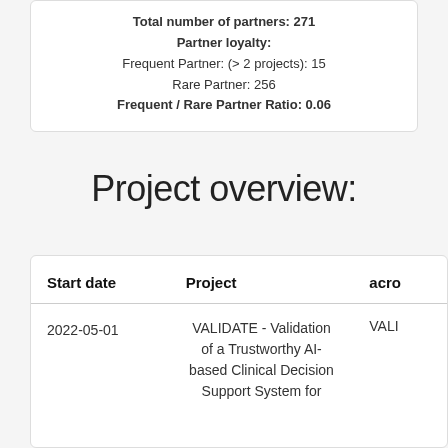Total number of partners: 271
Partner loyalty:
Frequent Partner: (> 2 projects): 15
Rare Partner: 256
Frequent / Rare Partner Ratio: 0.06
Project overview:
| Start date | Project | acro |
| --- | --- | --- |
| 2022-05-01 | VALIDATE - Validation of a Trustworthy AI-based Clinical Decision Support System for | VALI |